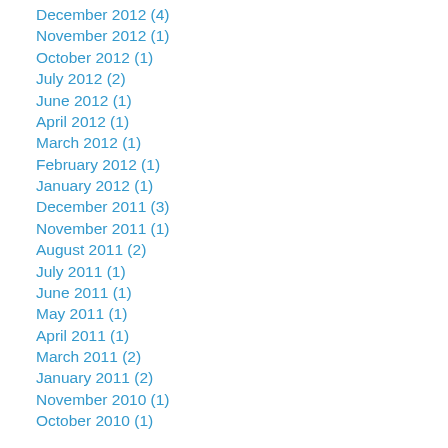December 2012 (4)
November 2012 (1)
October 2012 (1)
July 2012 (2)
June 2012 (1)
April 2012 (1)
March 2012 (1)
February 2012 (1)
January 2012 (1)
December 2011 (3)
November 2011 (1)
August 2011 (2)
July 2011 (1)
June 2011 (1)
May 2011 (1)
April 2011 (1)
March 2011 (2)
January 2011 (2)
November 2010 (1)
October 2010 (1)